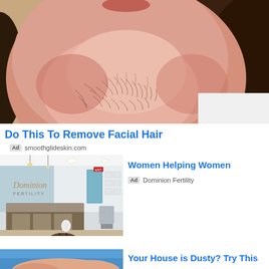[Figure (photo): Close-up of a person's chin and neck showing facial hair, with dark hair visible on the sides]
Do This To Remove Facial Hair
Ad smoothglideskin.com
[Figure (photo): Interior of a fertility clinic reception area with curved reception desk, chairs, and wall decor]
Women Helping Women
Ad Dominion Fertility
[Figure (photo): Partial view of hands and a blue surface, bottom of page]
Your House is Dusty? Try This